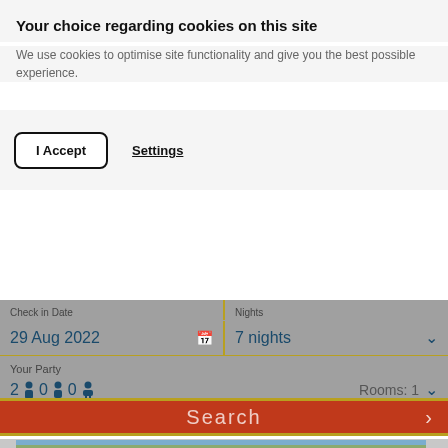Your choice regarding cookies on this site
We use cookies to optimise site functionality and give you the best possible experience.
I Accept | Settings
Check In Date: 29 Aug 2022 | Nights: 7 nights
Your Party: 2 adults 0 children 0 infants | Rooms: 1
Search
[Figure (photo): Hotel with palm trees under blue sky, partially obscured by cookie consent banner]